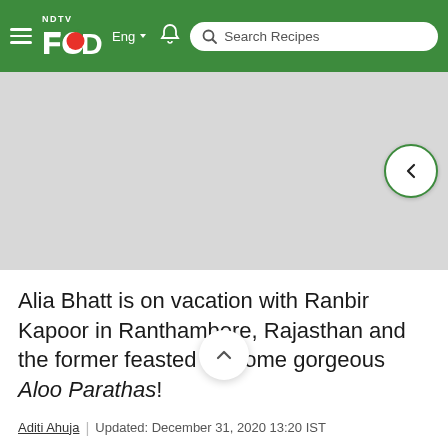NDTV Food — Eng — Search Recipes
[Figure (screenshot): Gray placeholder image area with a back navigation button (arrow) on the right side, partially visible circular green-bordered button]
Alia Bhatt is on vacation with Ranbir Kapoor in Ranthambore, Rajasthan and the former feasted on some gorgeous Aloo Parathas!
Aditi Ahuja | Updated: December 31, 2020 13:20 IST
[Figure (other): Social share icons row: Facebook, Twitter, WhatsApp, ShareChat, Bookmark, Bell, Email, Search]